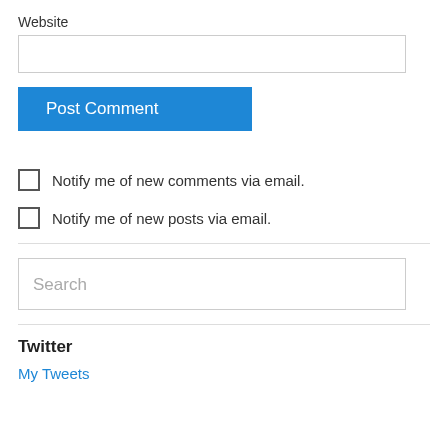Website
[text input field]
Post Comment
Notify me of new comments via email.
Notify me of new posts via email.
Search
Twitter
My Tweets